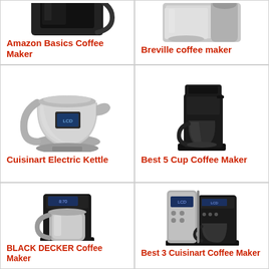[Figure (photo): Amazon Basics Coffee Maker product photo - black coffee maker with glass carafe, top portion visible]
Amazon Basics Coffee Maker
[Figure (photo): Breville coffee maker product photo - silver/stainless steel coffee maker with grinder, top portion visible]
Breville coffee maker
[Figure (photo): Cuisinart Electric Kettle product photo - silver electric kettle with digital display]
Cuisinart Electric Kettle
[Figure (photo): Best 5 Cup Coffee Maker product photo - black drip coffee maker with glass carafe]
Best 5 Cup Coffee Maker
[Figure (photo): BLACK DECKER Coffee Maker product photo - black and silver thermal coffee maker]
BLACK DECKER Coffee Maker
[Figure (photo): Best 3 Cuisinart Coffee Maker product photo - silver and black combination coffee maker with grinder]
Best 3 Cuisinart Coffee Maker